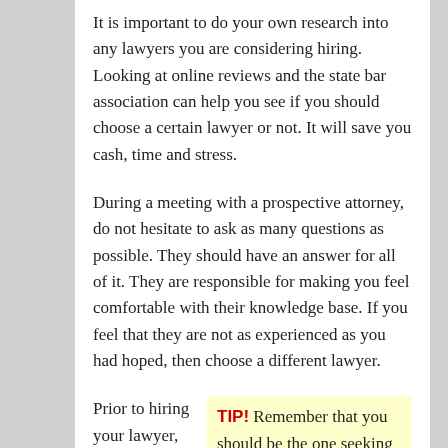It is important to do your own research into any lawyers you are considering hiring. Looking at online reviews and the state bar association can help you see if you should choose a certain lawyer or not. It will save you cash, time and stress.
During a meeting with a prospective attorney, do not hesitate to ask as many questions as possible. They should have an answer for all of it. They are responsible for making you feel comfortable with their knowledge base. If you feel that they are not as experienced as you had hoped, then choose a different lawyer.
Prior to hiring your lawyer, you should get in touch with your area's
TIP! Remember that you should be the one seeking out a lawyer.